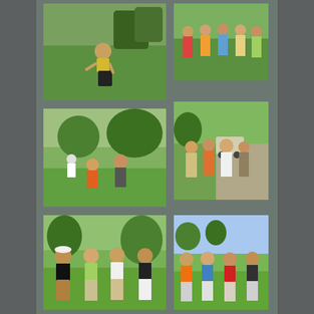[Figure (photo): Golfer in yellow shirt bending over on a green golf course]
[Figure (photo): Group of golfers standing together on a golf course]
[Figure (photo): Two golfers on a putting green with trees in background]
[Figure (photo): Four golfers posing together on a cart path with golf cart visible]
[Figure (photo): Four golfers posing on golf course, including man in black shirt with plaid shorts]
[Figure (photo): Four golfers in colorful shirts posing on a golf course]